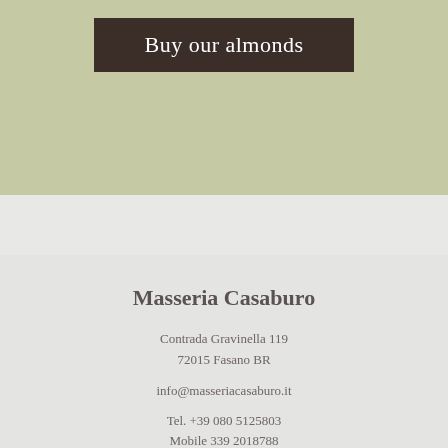[Figure (other): Green olive-colored background section with a dark brown button labeled 'Buy our almonds']
Masseria Casaburo
Contrada Gravinella 119
72015 Fasano BR
info@masseriacasaburo.it
Tel. +39 080 5125803
Mobile 339 2018788
Biva IT04632880868